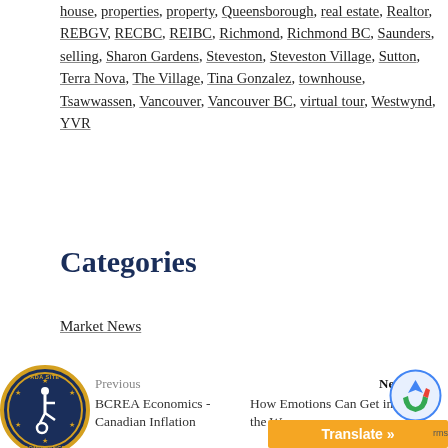house, properties, property, Queensborough, real estate, Realtor, REBGV, RECBC, REIBC, Richmond, Richmond BC, Saunders, selling, Sharon Gardens, Steveston, Steveston Village, Sutton, Terra Nova, The Village, Tina Gonzalez, townhouse, Tsawwassen, Vancouver, Vancouver BC, virtual tour, Westwynd, YVR
Categories
Market News
[Figure (logo): ADA Site Compliance circular badge with wheelchair accessibility icon, blue and gold colors]
Previous BCREA Economics - Canadian Inflation
Next How Emotions Can Get in the Wa...
Translate »